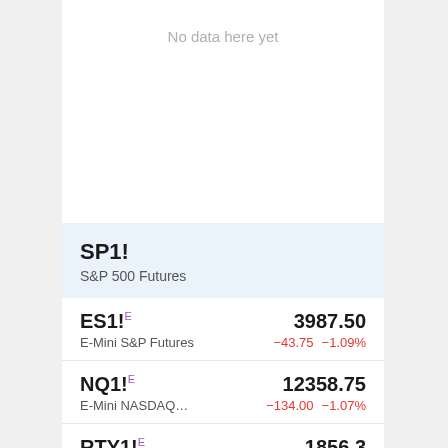No data here yet
SP1!
S&P 500 Futures
ES1! E   3987.50   E-Mini S&P Futures   −43.75   −1.09%
NQ1! E   12358.75   E-Mini NASDAQ...   −134.00   −1.07%
RTY1! E   1856.3   E-Mini Russell 200...   −26.4   −1.40%
YM1! E   31775